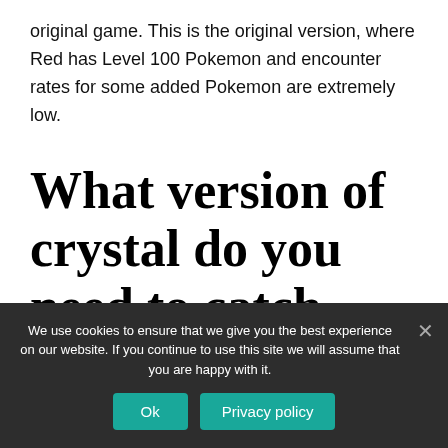original game. This is the original version, where Red has Level 100 Pokemon and encounter rates for some added Pokemon are extremely low.
What version of crystal do you need to catch pokmeon?
We use cookies to ensure that we give you the best experience on our website. If you continue to use this site we will assume that you are happy with it.